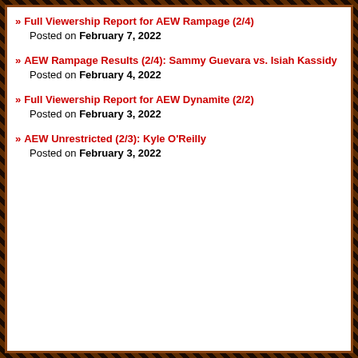Full Viewership Report for AEW Rampage (2/4)
Posted on February 7, 2022
AEW Rampage Results (2/4): Sammy Guevara vs. Isiah Kassidy
Posted on February 4, 2022
Full Viewership Report for AEW Dynamite (2/2)
Posted on February 3, 2022
AEW Unrestricted (2/3): Kyle O'Reilly
Posted on February 3, 2022